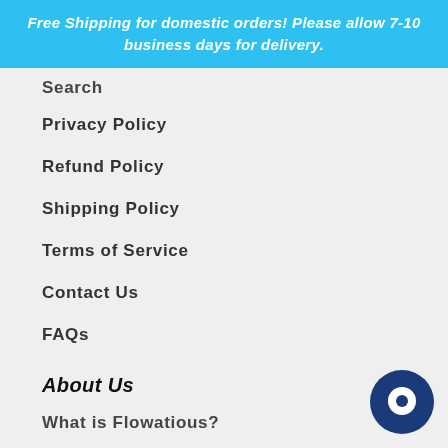Free Shipping for domestic orders! Please allow 7-10 business days for delivery.
Search
Privacy Policy
Refund Policy
Shipping Policy
Terms of Service
Contact Us
FAQs
About Us
What is Flowatious?